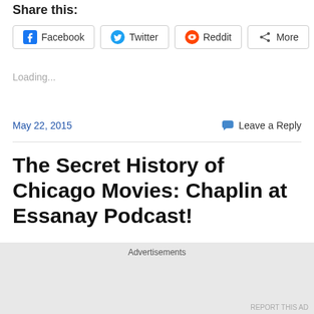Share this:
Facebook  Twitter  Reddit  More
Loading...
May 22, 2015    Leave a Reply
The Secret History of Chicago Movies: Chaplin at Essanay Podcast!
Advertisements